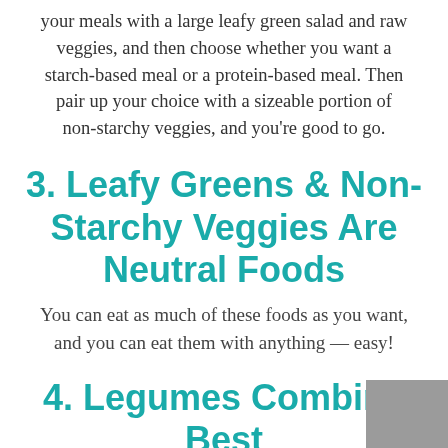your meals with a large leafy green salad and raw veggies, and then choose whether you want a starch-based meal or a protein-based meal. Then pair up your choice with a sizeable portion of non-starchy veggies, and you're good to go.
3. Leafy Greens & Non-Starchy Veggies Are Neutral Foods
You can eat as much of these foods as you want, and you can eat them with anything — easy!
4. Legumes Combine Best As A Starch